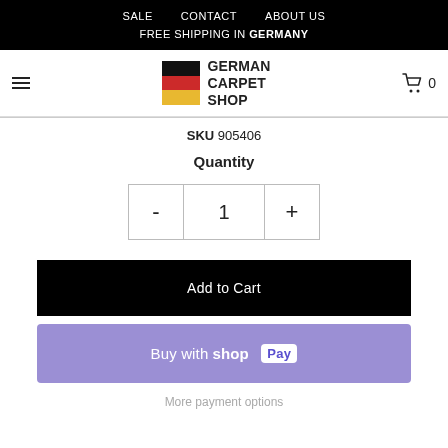SALE   CONTACT   ABOUT US
FREE SHIPPING IN GERMANY
[Figure (logo): German Carpet Shop logo with German flag colors (black, red, yellow) and text GERMAN CARPET SHOP]
SKU 905406
Quantity
[Figure (other): Quantity selector with minus button, value 1, and plus button]
Add to Cart
Buy with shop Pay
More payment options